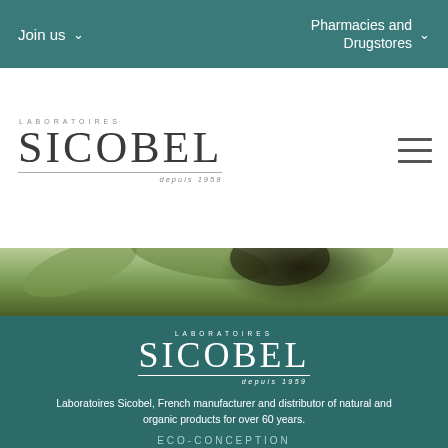Join us   Pharmacies and Drugstores
[Figure (logo): Laboratoires SICOBEL depuis 1959 logo in dark gray on white background]
[Figure (photo): Nature/plant background image strip in green tones]
[Figure (logo): Laboratoires SICOBEL depuis 1959 logo in white on teal background]
Laboratoires Sicobel, French manufacturer and distributor of natural and organic products for over 60 years.
ECO-CONCEPTION